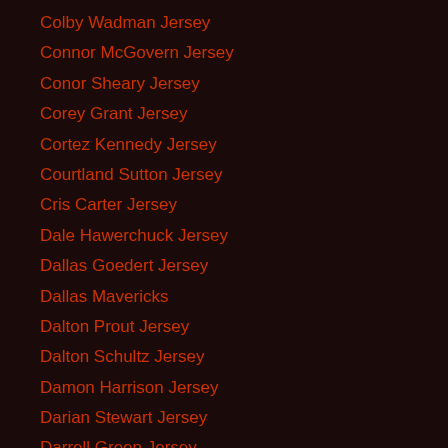Colby Wadman Jersey
Connor McGovern Jersey
Conor Sheary Jersey
Corey Grant Jersey
Cortez Kennedy Jersey
Courtland Sutton Jersey
Cris Carter Jersey
Dale Hawerchuck Jersey
Dallas Goedert Jersey
Dallas Mavericks
Dalton Prout Jersey
Dalton Schultz Jersey
Damon Harrison Jersey
Darian Stewart Jersey
Darrell Green Jersey